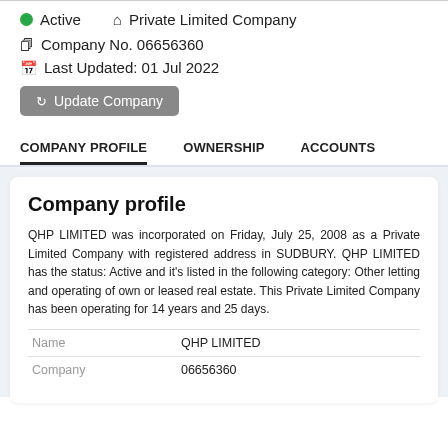Active   Private Limited Company
Company No. 06656360
Last Updated: 01 Jul 2022
Update Company
COMPANY PROFILE   OWNERSHIP   ACCOUNTS
Company profile
QHP LIMITED was incorporated on Friday, July 25, 2008 as a Private Limited Company with registered address in SUDBURY. QHP LIMITED has the status: Active and it's listed in the following category: Other letting and operating of own or leased real estate. This Private Limited Company has been operating for 14 years and 25 days.
| Name |  |
| --- | --- |
| Name | QHP LIMITED |
| Company | 06656360 |